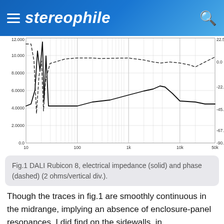stereophile
[Figure (continuous-plot): Electrical impedance (solid line) and phase (dashed line) plot for DALI Rubicon 8. X-axis: frequency from 10 Hz to 50kHz (log scale). Left Y-axis: impedance 0.0 to 12.000 ohms. Right Y-axis: phase from -90.0 to 22.50 degrees. Solid line shows impedance with peaks around 25Hz and 80Hz, dips between, then relatively flat around 4-6 ohms through midrange. Dashed line shows phase angle.]
Fig.1 DALI Rubicon 8, electrical impedance (solid) and phase (dashed) (2 ohms/vertical div.).
Though the traces in fig.1 are smoothly continuous in the midrange, implying an absence of enclosure-panel resonances, I did find on the sidewalls, in